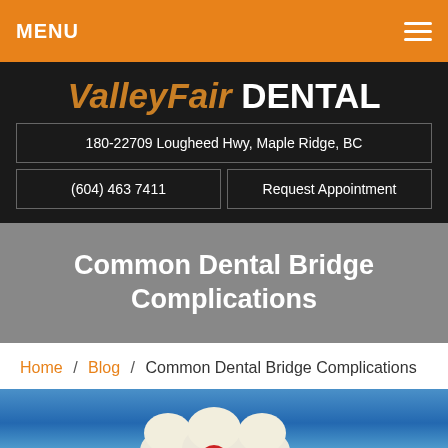MENU
ValleyFair DENTAL
180-22709 Lougheed Hwy, Maple Ridge, BC
(604) 463 7411
Request Appointment
Common Dental Bridge Complications
Home / Blog / Common Dental Bridge Complications
[Figure (photo): Photo of dental tooth models on blue background]